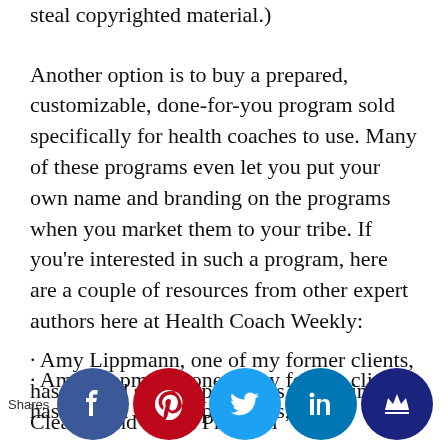steal copyrighted material.)
Another option is to buy a prepared, customizable, done-for-you program sold specifically for health coaches to use. Many of these programs even let you put your own name and branding on the programs when you market them to your tribe. If you're interested in such a program, here are a couple of resources from other expert authors here at Health Coach Weekly:
· Amy Lippmann, one of my former clients, has created several programs, including a Cleanse and Detox Program
[Figure (infographic): Social media sharing bar with Facebook, Pinterest, Twitter, LinkedIn, and crown icon buttons, with 'Shares' label on the left]